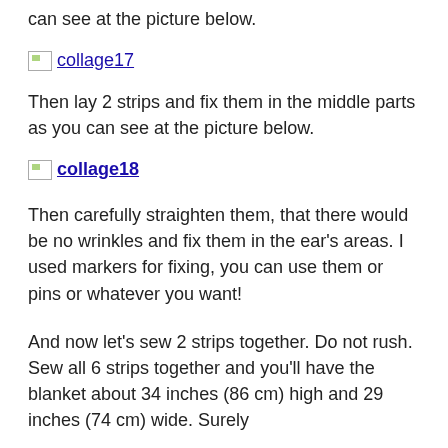can see at the picture below.
[Figure (illustration): collage17 image placeholder with broken image icon and underlined link text]
Then lay 2 strips and fix them in the middle parts as you can see at the picture below.
[Figure (illustration): collage18 image placeholder with broken image icon and bold underlined link text]
Then carefully straighten them, that there would be no wrinkles and fix them in the ear's areas. I used markers for fixing, you can use them or pins or whatever you want!
And now let's sew 2 strips together. Do not rush. Sew all 6 strips together and you'll have the blanket about 34 inches (86 cm) high and 29 inches (74 cm) wide. Surely